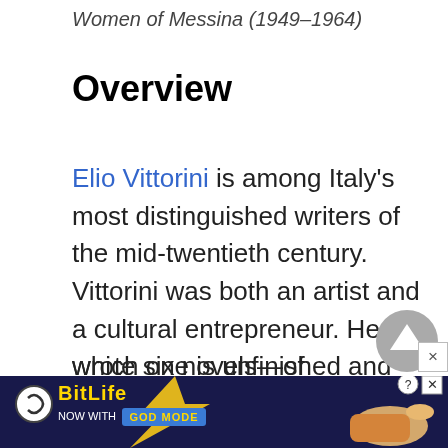Women of Messina (1949–1964)
Overview
Elio Vittorini is among Italy's most distinguished writers of the mid-twentieth century. Vittorini was both an artist and a cultural entrepreneur. He wrote six novels—of
which one is unfinished and another is a long fragment—and some fifty short stories, while his many articles on lite
[Figure (other): Scroll-to-top circular button (grey) with upward arrow, and an X close button beside it, overlapping the article text.]
[Figure (other): BitLife advertisement banner at the bottom: dark blue background with BitLife logo, 'NOW WITH GOD MODE' text, lightning bolt graphic, and a pointing hand illustration. Help and close buttons in top right.]